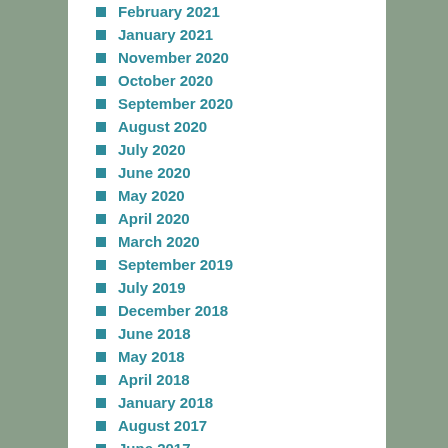February 2021
January 2021
November 2020
October 2020
September 2020
August 2020
July 2020
June 2020
May 2020
April 2020
March 2020
September 2019
July 2019
December 2018
June 2018
May 2018
April 2018
January 2018
August 2017
June 2017
May 2017
April 2017